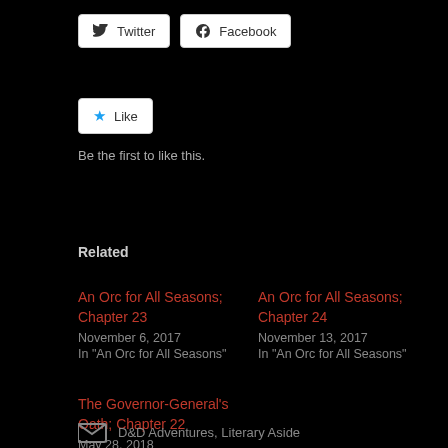[Figure (screenshot): Social share buttons: Twitter and Facebook buttons]
[Figure (screenshot): Like button with star icon]
Be the first to like this.
Related
An Orc for All Seasons; Chapter 23
November 6, 2017
In "An Orc for All Seasons"
An Orc for All Seasons; Chapter 24
November 13, 2017
In "An Orc for All Seasons"
The Governor-General's Oath; Chapter 22
May 28, 2018
In "The Governor-General's Oath"
D&D Adventures, Literary Aside